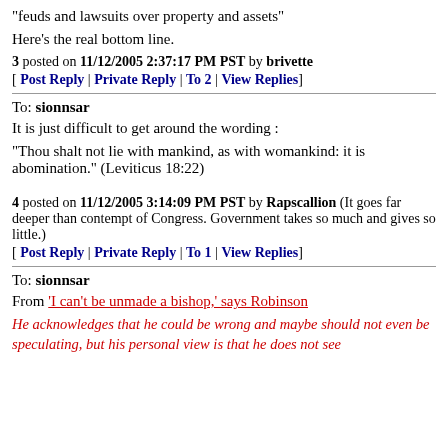"feuds and lawsuits over property and assets"
Here's the real bottom line.
3 posted on 11/12/2005 2:37:17 PM PST by brivette
[ Post Reply | Private Reply | To 2 | View Replies]
To: sionnsar
It is just difficult to get around the wording :
"Thou shalt not lie with mankind, as with womankind: it is abomination." (Leviticus 18:22)
4 posted on 11/12/2005 3:14:09 PM PST by Rapscallion (It goes far deeper than contempt of Congress. Government takes so much and gives so little.)
[ Post Reply | Private Reply | To 1 | View Replies]
To: sionnsar
From 'I can't be unmade a bishop,' says Robinson
He acknowledges that he could be wrong and maybe should not even be speculating, but his personal view is that he does not see